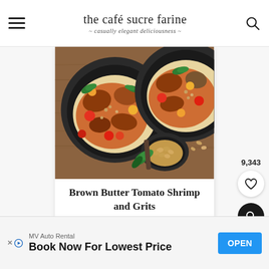the café sucre farine — casually elegant deliciousness
[Figure (photo): Two dark bowls on a wooden table filled with shrimp and grits with tomatoes and basil, and a small bowl of pine nuts]
Brown Butter Tomato Shrimp and Grits
9,343
[Figure (other): Advertisement banner: MV Auto Rental — Book Now For Lowest Price — OPEN button]